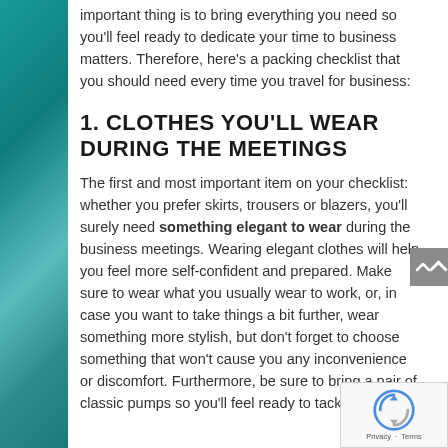important thing is to bring everything you need so you'll feel ready to dedicate your time to business matters. Therefore, here's a packing checklist that you should need every time you travel for business:
1. CLOTHES YOU'LL WEAR DURING THE MEETINGS
The first and most important item on your checklist: whether you prefer skirts, trousers or blazers, you'll surely need something elegant to wear during the business meetings. Wearing elegant clothes will help you feel more self-confident and prepared. Make sure to wear what you usually wear to work, or, in case you want to take things a bit further, wear something more stylish, but don't forget to choose something that won't cause you any inconvenience or discomfort. Furthermore, be sure to bring a pair of classic pumps so you'll feel ready to tackle any